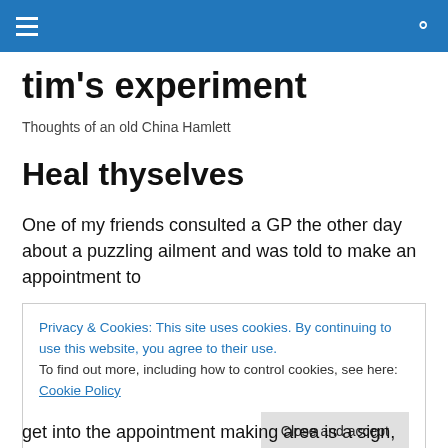tim's experiment — site header bar
tim's experiment
Thoughts of an old China Hamlett
Heal thyselves
One of my friends consulted a GP the other day about a puzzling ailment and was told to make an appointment to
Privacy & Cookies: This site uses cookies. By continuing to use this website, you agree to their use.
To find out more, including how to control cookies, see here: Cookie Policy
[Close and accept]
get into the appointment making area is a sign, which so